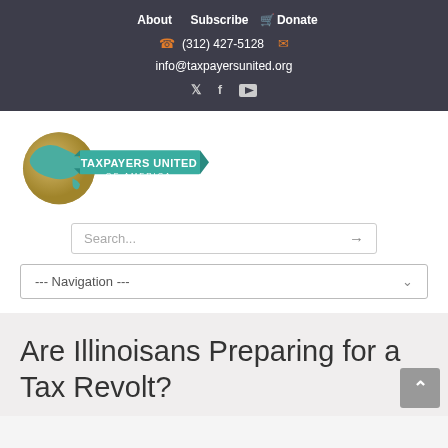About  Subscribe  🛒 Donate
☎ (312) 427-5128  ✉
info@taxpayersunited.org
🐦 f ▶
[Figure (logo): Taxpayers United of America logo with globe and teal banner]
Search...
--- Navigation ---
Are Illinoisans Preparing for a Tax Revolt?